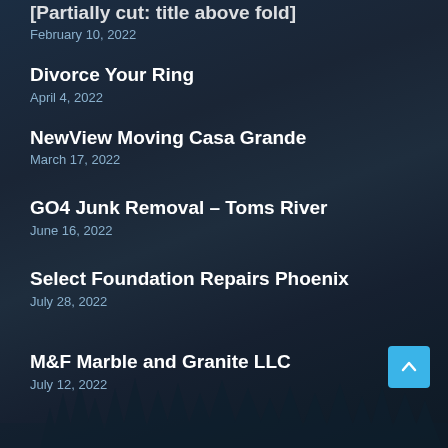[Partially cut off title]
February 10, 2022
Divorce Your Ring
April 4, 2022
NewView Moving Casa Grande
March 17, 2022
GO4 Junk Removal – Toms River
June 16, 2022
Select Foundation Repairs Phoenix
July 28, 2022
M&F Marble and Granite LLC
July 12, 2022